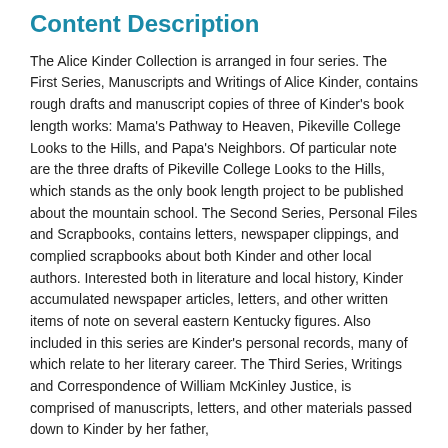Content Description
The Alice Kinder Collection is arranged in four series. The First Series, Manuscripts and Writings of Alice Kinder, contains rough drafts and manuscript copies of three of Kinder's book length works: Mama's Pathway to Heaven, Pikeville College Looks to the Hills, and Papa's Neighbors. Of particular note are the three drafts of Pikeville College Looks to the Hills, which stands as the only book length project to be published about the mountain school. The Second Series, Personal Files and Scrapbooks, contains letters, newspaper clippings, and complied scrapbooks about both Kinder and other local authors. Interested both in literature and local history, Kinder accumulated newspaper articles, letters, and other written items of note on several eastern Kentucky figures. Also included in this series are Kinder's personal records, many of which relate to her literary career. The Third Series, Writings and Correspondence of William McKinley Justice, is comprised of manuscripts, letters, and other materials passed down to Kinder by her father,